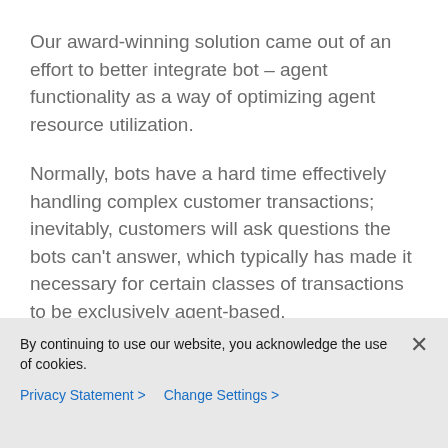Our award-winning solution came out of an effort to better integrate bot – agent functionality as a way of optimizing agent resource utilization.
Normally, bots have a hard time effectively handling complex customer transactions; inevitably, customers will ask questions the bots can't answer, which typically has made it necessary for certain classes of transactions to be exclusively agent-based.
Our goal was to make it possible for businesses to implement a solution that could utilize both
By continuing to use our website, you acknowledge the use of cookies.
Privacy Statement > Change Settings >